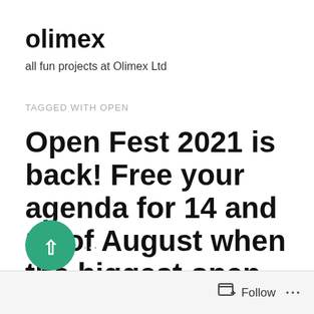olimex
all fun projects at Olimex Ltd
TAGGED WITH OPEN
Open Fest 2021 is back! Free your agenda for 14 and 15 of August when the biggest open source event in Bulgaria will take place in Sofia.
Follow ...